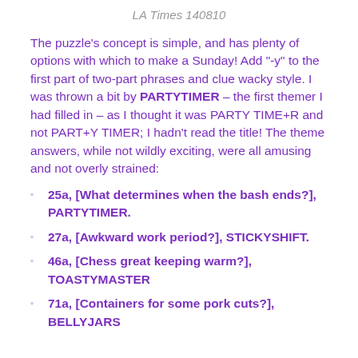LA Times 140810
The puzzle's concept is simple, and has plenty of options with which to make a Sunday! Add "-y" to the first part of two-part phrases and clue wacky style. I was thrown a bit by PARTYTIMER – the first themer I had filled in – as I thought it was PARTY TIME+R and not PART+Y TIMER; I hadn't read the title! The theme answers, while not wildly exciting, were all amusing and not overly strained:
25a, [What determines when the bash ends?], PARTYTIMER.
27a, [Awkward work period?], STICKYSHIFT.
46a, [Chess great keeping warm?], TOASTYMASTER
71a, [Containers for some pork cuts?], BELLYJARS